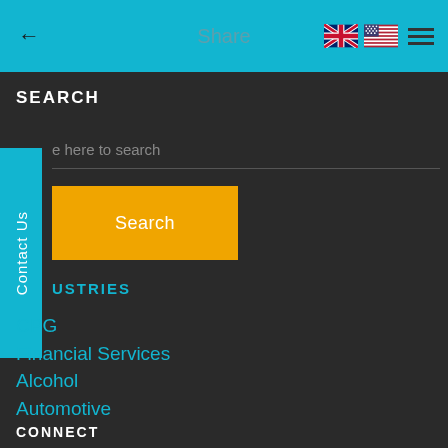← Share
SEARCH
e here to search
Search
USTRIES
CPG
Financial Services
Alcohol
Automotive
CONNECT
Contact Us